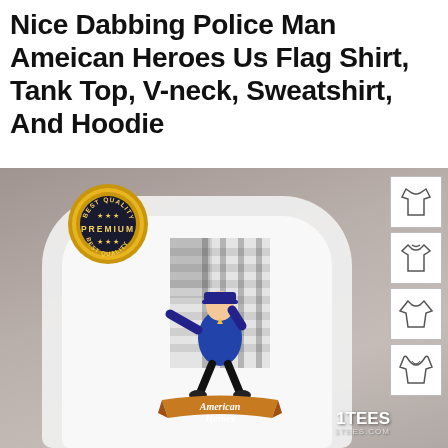Nice Dabbing Police Man Ameican Heroes Us Flag Shirt, Tank Top, V-neck, Sweatshirt, And Hoodie
[Figure (photo): Product photo of a woman wearing a white t-shirt with a dabbing police man American Heroes US flag graphic design. The shirt shows a cartoon police officer doing the dab move in front of an American flag design, with 'American Heroes' text on a banner. A gold 'Best Quality Premium' badge appears top-left, four clothing style thumbnails appear on the right, and a 1TEES.COM watermark appears bottom-right.]